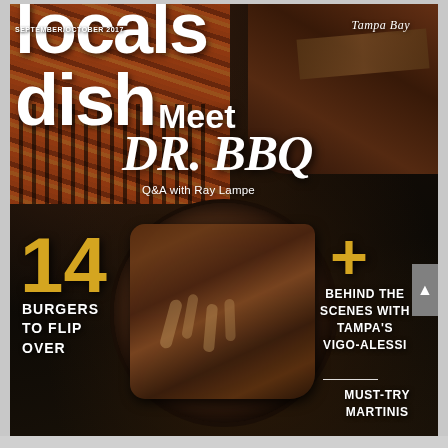[Figure (photo): Magazine cover of 'Local's Dish Tampa Bay' September/October 2017 issue. Dark background with BBQ meats — bacon strips on grill top-left, smoked meat top-right, smoked ribs on round wooden cutting board center. Bold white and gold text overlays including 'Meet DR. BBQ', 'Q&A with Ray Lampe', '14 BURGERS TO FLIP OVER', '+ BEHIND THE SCENES WITH TAMPA'S VIGO-ALESSI', 'MUST-TRY MARTINIS'.]
locals dish
SEPTEMBER/OCTOBER 2017
Tampa Bay
Meet
DR. BBQ
Q&A with Ray Lampe
14
BURGERS
TO FLIP
OVER
+
BEHIND THE
SCENES WITH
TAMPA'S
VIGO-ALESSI
MUST-TRY
MARTINIS